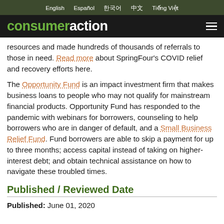English  Español  한국어  中文  Tiếng Việt
[Figure (logo): Consumer Action logo: 'consumer' in green bold and 'action' in white bold on black background, with hamburger menu icon on the right]
resources and made hundreds of thousands of referrals to those in need. Read more about SpringFour's COVID relief and recovery efforts here.
The Opportunity Fund is an impact investment firm that makes business loans to people who may not qualify for mainstream financial products. Opportunity Fund has responded to the pandemic with webinars for borrowers, counseling to help borrowers who are in danger of default, and a Small Business Relief Fund. Fund borrowers are able to skip a payment for up to three months; access capital instead of taking on higher-interest debt; and obtain technical assistance on how to navigate these troubled times.
Published / Reviewed Date
Published: June 01, 2020